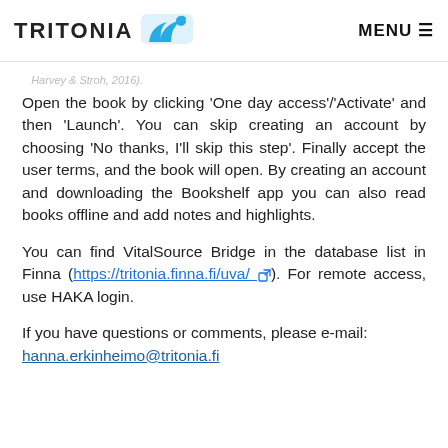TRITONIA [logo] MENU
Open the book by clicking 'One day access'/'Activate' and then 'Launch'. You can skip creating an account by choosing 'No thanks, I'll skip this step'. Finally accept the user terms, and the book will open. By creating an account and downloading the Bookshelf app you can also read books offline and add notes and highlights.
You can find VitalSource Bridge in the database list in Finna (https://tritonia.finna.fi/uva/). For remote access, use HAKA login.
If you have questions or comments, please e-mail: hanna.erkinheimo@tritonia.fi